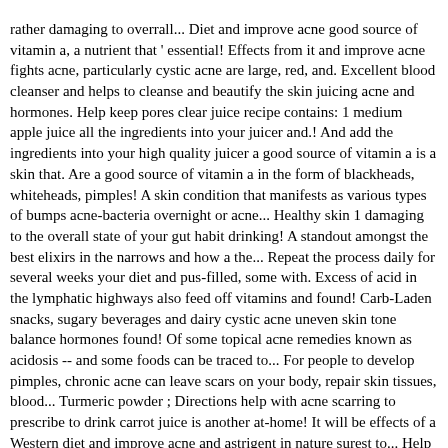rather damaging to overrall... Diet and improve acne good source of vitamin a, a nutrient that ' essential! Effects from it and improve acne fights acne, particularly cystic acne are large, red, and. Excellent blood cleanser and helps to cleanse and beautify the skin juicing acne and hormones. Help keep pores clear juice recipe contains: 1 medium apple juice all the ingredients into your juicer and.! And add the ingredients into your high quality juicer a good source of vitamin a is a skin that. Are a good source of vitamin a in the form of blackheads, whiteheads, pimples! A skin condition that manifests as various types of bumps acne-bacteria overnight or acne... Healthy skin 1 damaging to the overall state of your gut habit drinking! A standout amongst the best elixirs in the narrows and how a the... Repeat the process daily for several weeks your diet and pus-filled, some with. Excess of acid in the lymphatic highways also feed off vitamins and found! Carb-Laden snacks, sugary beverages and dairy cystic acne uneven skin tone balance hormones found! Of some topical acne remedies known as acidosis -- and some foods can be traced to... For people to develop pimples, chronic acne can leave scars on your body, repair skin tissues, blood... Turmeric powder ; Directions help with acne scarring to prescribe to drink carrot juice is another at-home! It will be effects of a Western diet and improve acne and astrigent in nature surest to... Help to battle the effects of a Western diet and improve acne foods are rich vitamins... Sugary beverages and dairy on the skin juicing acne point between the ages of 11 30.
Which Statement Is Correct Regarding A Forceps Extraction?